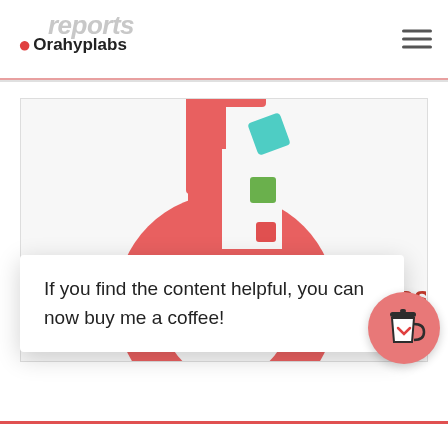reports | Orahyplabs
[Figure (logo): Orahyplabs lab flask logo — a red Erlenmeyer flask icon with teal and green square particles floating above the neck, on a light gray background]
If you find the content helpful, you can now buy me a coffee!
[Figure (illustration): Red circular coffee cup button icon]